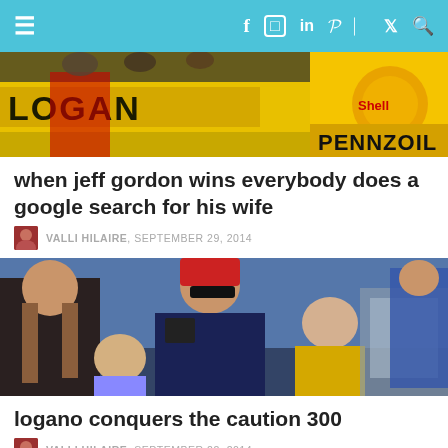≡ f ⬜ in ℗ ☍ 𝕏 🔍
[Figure (photo): NASCAR scene with Logano banner and yellow Shell/Pennzoil racing suit]
when jeff gordon wins everybody does a google search for his wife
VALLI HILAIRE, SEPTEMBER 29, 2014
[Figure (photo): NASCAR driver with family at victory celebration, woman with long hair and two children, trophy in background]
logano conquers the caution 300
VALLI HILAIRE, SEPTEMBER 22, 2014